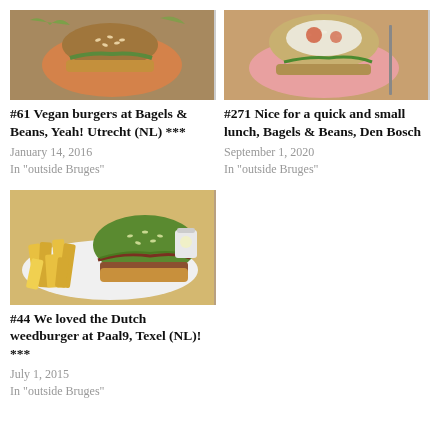[Figure (photo): Photo of a vegan burger with sesame bun and lettuce on a plate at Bagels & Beans Utrecht]
#61 Vegan burgers at Bagels & Beans, Yeah! Utrecht (NL) ***
January 14, 2016
In "outside Bruges"
[Figure (photo): Photo of a burger with fried egg and toppings on a pink plate at Bagels & Beans Den Bosch]
#271 Nice for a quick and small lunch, Bagels & Beans, Den Bosch
September 1, 2020
In "outside Bruges"
[Figure (photo): Photo of a green sesame bun vegan weedburger with French fries at Paal9 Texel]
#44 We loved the Dutch weedburger at Paal9, Texel (NL)! ***
July 1, 2015
In "outside Bruges"